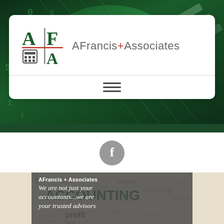[Figure (photo): Dark green background with glowing number matrix / spreadsheet pattern and diagonal lines]
[Figure (logo): AFrancis + Associates logo: stylized A|F over calculator and A with red horizontal bar, company name 'AFrancis+Associates' in grey/red]
[Figure (infographic): Hamburger menu icon (three horizontal lines)]
[Figure (logo): Facebook icon: grey circle with white F]
AFrancis + Associates
We are not just your accountants...we are your trusted advisors